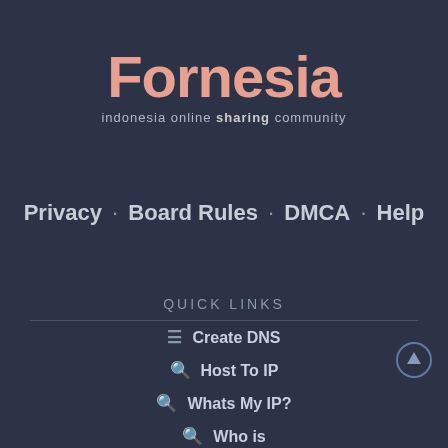[Figure (logo): Fornesia logo — stylized pink text 'Fornesia' with tagline 'indonesia online sharing community']
Privacy · Board Rules · DMCA · Help
QUICK LINKS
Create DNS
Host To IP
Whats My IP?
Who is
Forum Stats
Contact Us